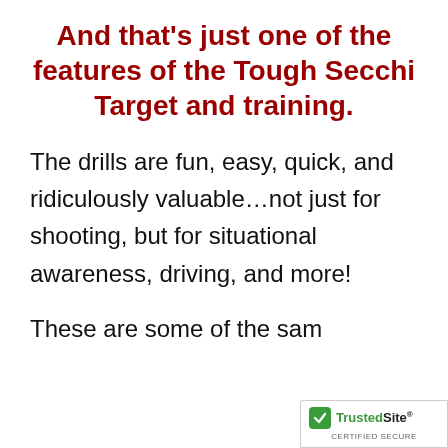And that's just one of the features of the Tough Secchi Target and training.
The drills are fun, easy, quick, and ridiculously valuable…not just for shooting, but for situational awareness, driving, and more!
These are some of the sam
[Figure (logo): TrustedSite certified secure badge with green checkmark]